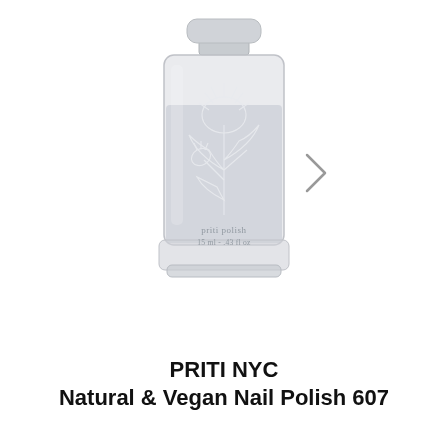[Figure (photo): A clear glass nail polish bottle with a gray/lavender tinted polish inside, featuring an etched botanical thistle flower illustration on the bottle. The cap is silver/gray. The label reads 'priti polish' and '15 ml - .43 fl oz'. A right-pointing chevron navigation arrow is visible on the right side of the image.]
PRITI NYC
Natural & Vegan Nail Polish 607